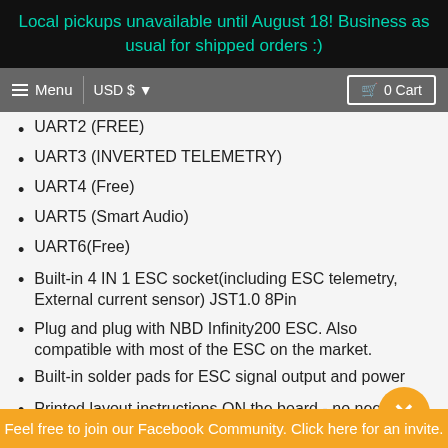Local pickups unavailable until August 18! Business as usual for shipped orders :)
Menu | USD $ | 0 Cart
UART2 (FREE)
UART3 (INVERTED TELEMETRY)
UART4 (Free)
UART5 (Smart Audio)
UART6(Free)
Built-in 4 IN 1 ESC socket(including ESC telemetry, External current sensor) JST1.0 8Pin
Plug and plug with NBD Infinity200 ESC. Also compatible with most of the ESC on the market.
Built-in solder pads for ESC signal output and power
Printed layout instructions ON the board - no need for instructions!
Feel free to join our Facebook Community. Click here for an invite.